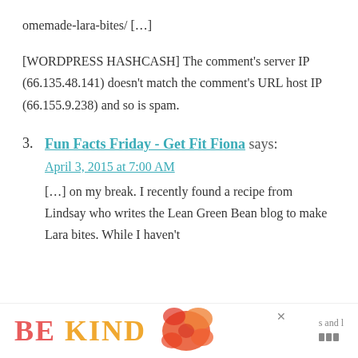omemade-lara-bites/ […]
[WORDPRESS HASHCASH] The comment's server IP (66.135.48.141) doesn't match the comment's URL host IP (66.155.9.238) and so is spam.
Fun Facts Friday - Get Fit Fiona says:
April 3, 2015 at 7:00 AM
[…] on my break. I recently found a recipe from Lindsay who writes the Lean Green Bean blog to make Lara bites. While I haven't
[Figure (other): Advertisement banner at bottom of page reading 'BE KIND' in large colorful letters with a decorative floral graphic and close button]